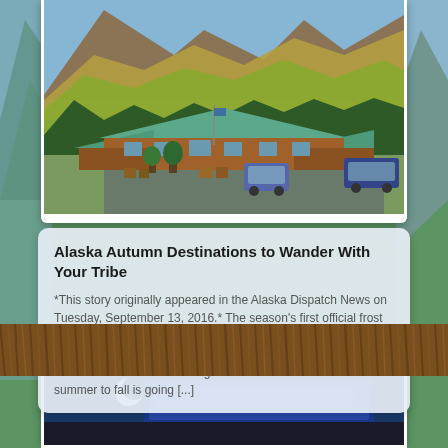[Figure (photo): A log cabin building with green roof set against large mountains with fall foliage colors of yellow, gold and green. Cars parked in front. Blue sky above.]
Alaska Autumn Destinations to Wander With Your Tribe
*This story originally appeared in the Alaska Dispatch News on Tuesday, September 13, 2016.* The season's first official frost left a sparkling welcome upon my front lawn last weekend, and the birch leaves and hillside shrubs are beginning to change color. It's an unmistakable signal that the seasonal shift from summer to fall is going [...]
[Figure (photo): Brown bear fur visible in foreground. Bottom photo shows a blue vehicle or bus with a moon or light visible in a night or dusk sky.]